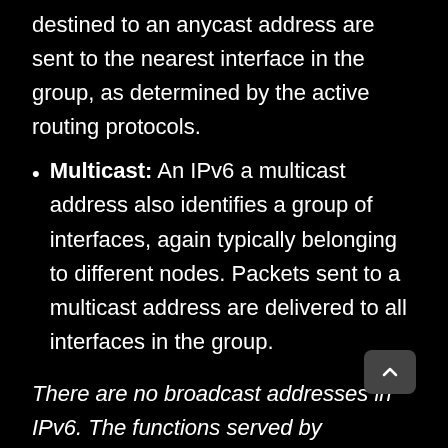destined to an anycast address are sent to the nearest interface in the group, as determined by the active routing protocols.
Multicast: An IPv6 a multicast address also identifies a group of interfaces, again typically belonging to different nodes. Packets sent to a multicast address are delivered to all interfaces in the group.
There are no broadcast addresses in IPv6. The functions served by broadcast addresses in IPv4 are provided by multicast addresses in IPv6.
The high-order (left-most) bits of an IPv6